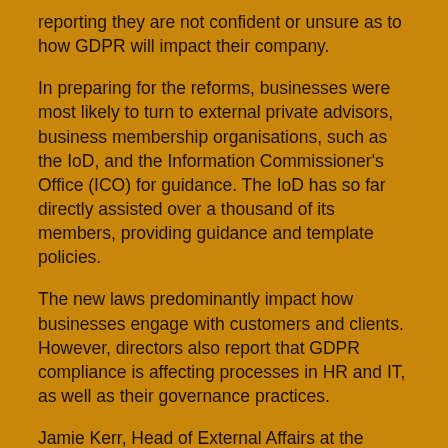reporting they are not confident or unsure as to how GDPR will impact their company.
In preparing for the reforms, businesses were most likely to turn to external private advisors, business membership organisations, such as the IoD, and the Information Commissioner's Office (ICO) for guidance. The IoD has so far directly assisted over a thousand of its members, providing guidance and template policies.
The new laws predominantly impact how businesses engage with customers and clients. However, directors also report that GDPR compliance is affecting processes in HR and IT, as well as their governance practices.
Jamie Kerr, Head of External Affairs at the Institute of Directors, said:
“GDPR has been a long time coming for businesses, but it is only proving more formidable as the deadline looms and companies drill down into the detail. The regulator has assured small businesses that there will be not be a sudden inquisition once the rules enter into effect, but with such large penalties for non-